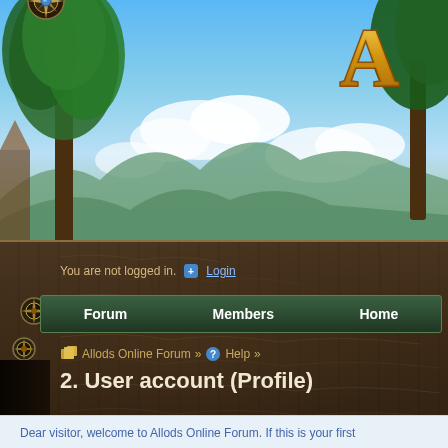[Figure (screenshot): Allods Online Forum website screenshot showing fantasy game banner with nature/sky background, game logo partially visible top right, dark brown textured content panel with navigation bar (Forum, Members, Home), breadcrumb trail, page title '2. User account (Profile)', and a welcome message box at the bottom.]
You are not logged in.
Login
Forum   Members   Home
Allods Online Forum » Help »
2. User account (Profile)
Dear visitor, welcome to Allods Online Forum. If this is your first